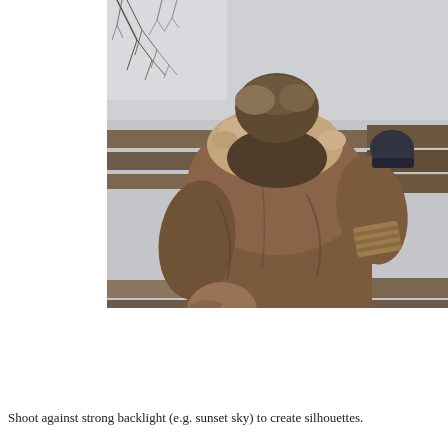[Figure (photo): A person seen from behind wearing a brown hooded winter jacket with fur trim on the hood, sitting on a wooden bench or fence structure. The person is wearing dark gloves on their right hand. The background shows a pale grey sky and bare tree branches. The photo has a muted, slightly desaturated tone.]
Shoot against strong backlight (e.g. sunset sky) to create silhouettes.